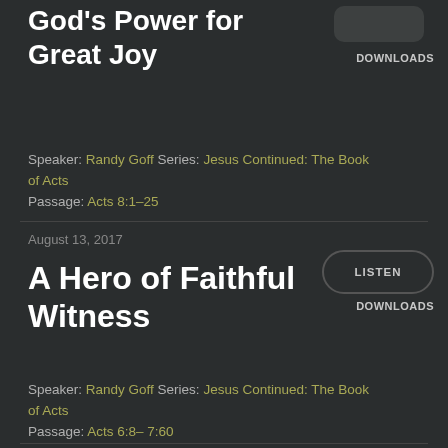God's Power for Great Joy
DOWNLOADS
Speaker: Randy Goff Series: Jesus Continued: The Book of Acts
Passage: Acts 8:1–25
August 13, 2017
LISTEN
DOWNLOADS
A Hero of Faithful Witness
Speaker: Randy Goff Series: Jesus Continued: The Book of Acts
Passage: Acts 6:8– 7:60